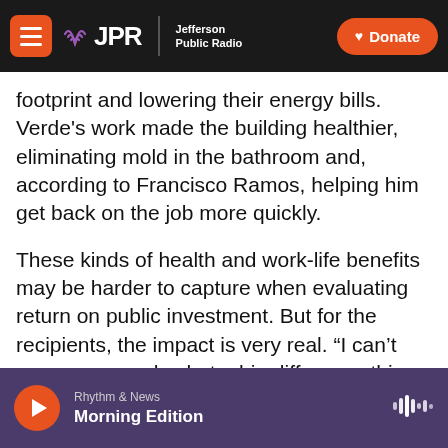JPR Jefferson Public Radio | Donate
footprint and lowering their energy bills. Verde's work made the building healthier, eliminating mold in the bathroom and, according to Francisco Ramos, helping him get back on the job more quickly.
These kinds of health and work-life benefits may be harder to capture when evaluating return on public investment. But for the recipients, the impact is very real. “I can’t express enough what a big difference this system made in my life,” Ramos says.
Rhythm & News
Morning Edition